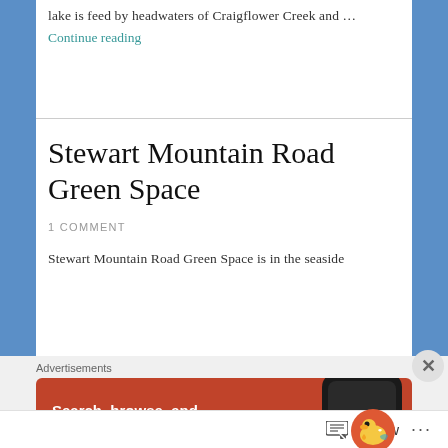lake is feed by headwaters of Craigflower Creek and …
Continue reading
Stewart Mountain Road Green Space
1 COMMENT
Stewart Mountain Road Green Space is in the seaside
[Figure (screenshot): DuckDuckGo advertisement banner: orange/red background with text 'Search, browse, and email with more privacy.' and 'All in One Free App' button, with a phone mockup and DuckDuckGo duck logo on the right side.]
Follow ...